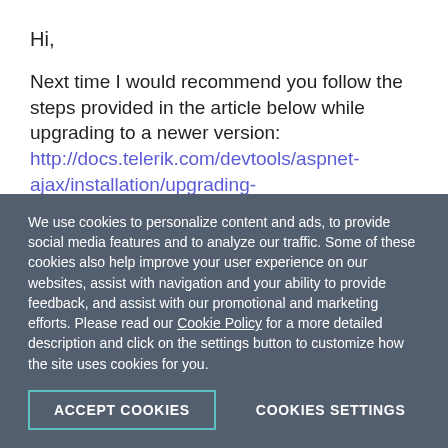Hi,
Next time I would recommend you follow the steps provided in the article below while upgrading to a newer version: http://docs.telerik.com/devtools/aspnet-ajax/installation/upgrading-instructions/upgrading-a-trial-to-a-developer-license-or-to-a-newer-version#upgrade-to-a-newer-version-of-telerik-ui-for-aspnet-ajax
We use cookies to personalize content and ads, to provide social media features and to analyze our traffic. Some of these cookies also help improve your user experience on our websites, assist with navigation and your ability to provide feedback, and assist with our promotional and marketing efforts. Please read our Cookie Policy for a more detailed description and click on the settings button to customize how the site uses cookies for you.
ACCEPT COOKIES
COOKIES SETTINGS